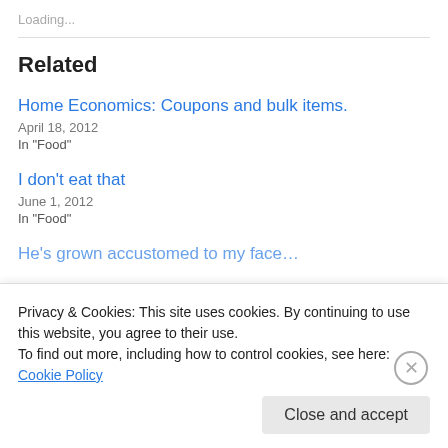Loading...
Related
Home Economics: Coupons and bulk items.
April 18, 2012
In "Food"
I don't eat that
June 1, 2012
In "Food"
He's grown accustomed to my face…
Privacy & Cookies: This site uses cookies. By continuing to use this website, you agree to their use.
To find out more, including how to control cookies, see here: Cookie Policy
Close and accept